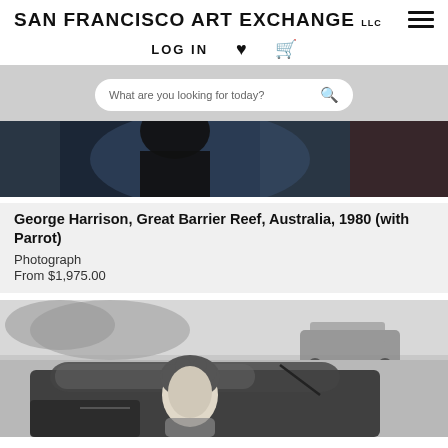SAN FRANCISCO ART EXCHANGE LLC
LOG IN
[Figure (screenshot): Search bar with placeholder text 'What are you looking for today?' and search icon, on a grey background]
[Figure (photo): Black and white photograph, top portion showing dark/shadowy background with a figure in blue]
George Harrison, Great Barrier Reef, Australia, 1980 (with Parrot)
Photograph
From $1,975.00
[Figure (photo): Black and white photograph showing a person with curly hair in a convertible car, street scene in background]